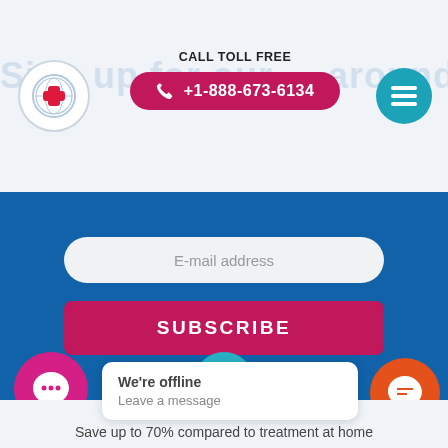CALL TOLL FREE +1-888-673-6134
Sign up for... around the...
E-mail address
SUBSCRIBE
[Figure (infographic): Teal piggy bank icon in a teal circle]
Awesome savings
Save up to 70% compared to treatment at home
[Figure (infographic): Pink circle with chat/speech bubble icon]
[Figure (infographic): Teal circle with icon (partial)]
G...
Best price guaranteed
We're offline
Leave a message
[Figure (infographic): Orange circle with chat icon (Freshchat widget)]